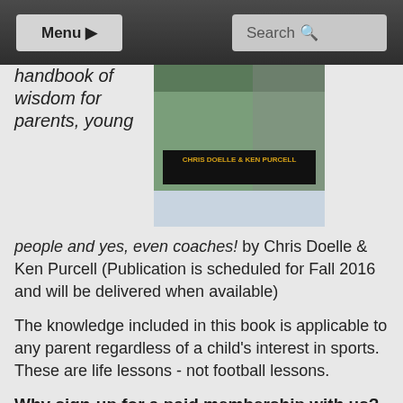Menu | Search
[Figure (photo): Book cover showing 'CHRIS DOELLE & KEN PURCELL' on a green hedge background]
handbook of wisdom for parents, young people and yes, even coaches! by Chris Doelle & Ken Purcell (Publication is scheduled for Fall 2016 and will be delivered when available)
The knowledge included in this book is applicable to any parent regardless of a child's interest in sports. These are life lessons - not football lessons.
Why sign-up for a paid membership with us?
You'll get comprehensive Texas High School Football news and insights backed up by 30 years of experience covering the sport. We played the game. We lived it. We love it!